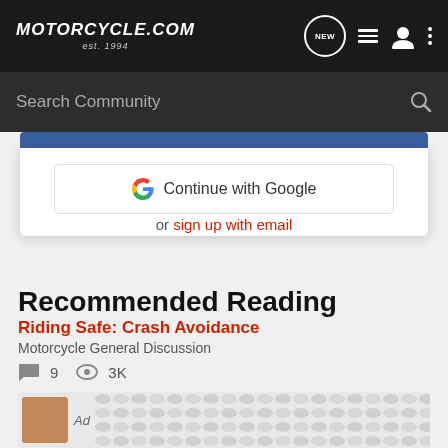Motorcycle.com est. 1994
Search Community
[Figure (screenshot): Login modal with 'Continue with Google' button]
or sign up with email
Recommended Reading
Riding Safe: Crash Avoidance
Motorcycle General Discussion
9  3K
[Figure (screenshot): Article card with avatar and tiled pattern background]